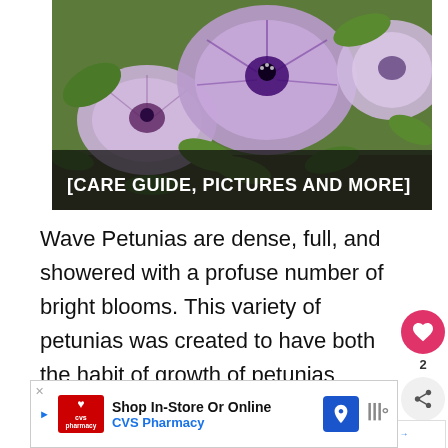[Figure (photo): Photo of purple/lavender petunia flowers with green foliage. A dark overlay bar at the bottom reads '[CARE GUIDE, PICTURES AND MORE]' in white bold text.]
Wave Petunias are dense, full, and showered with a profuse number of bright blooms. This variety of petunias was created to have both the habit of growth of petunias (mounded and upright) and of trailing vine plants. Blooms may be seen in shades of white, red, purple, pink, yellow, blue, and other color patterns. Their vivd blooms last all summer long and can even last into the fall months
[Figure (infographic): Social widget: heart/like button (red circle with heart icon, count '2'), and share button (circle with share icon)]
[Figure (infographic): What's Next widget showing thumbnail of yellow petunias with label 'WHAT'S NEXT → Yellow Petunias...']
[Figure (infographic): CVS Pharmacy advertisement banner: 'Shop In-Store Or Online / CVS Pharmacy' with CVS logo, navigation icon, and weather widget]